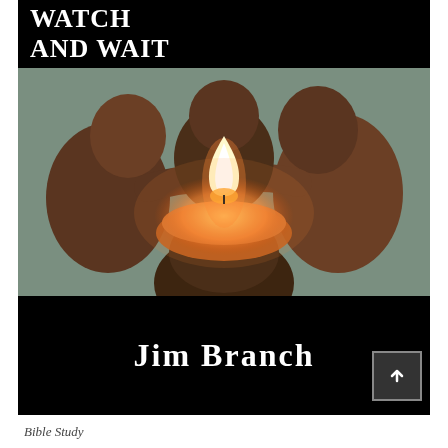WATCH AND WAIT
[Figure (photo): Clay/ceramic figurines arranged in a circle around a lit candle in a bowl. The figurines are brownish-terracotta colored and appear to be human forms huddled together. The candle flame illuminates the center of the composition against a muted grey-green background.]
Jim Branch
Bible Study